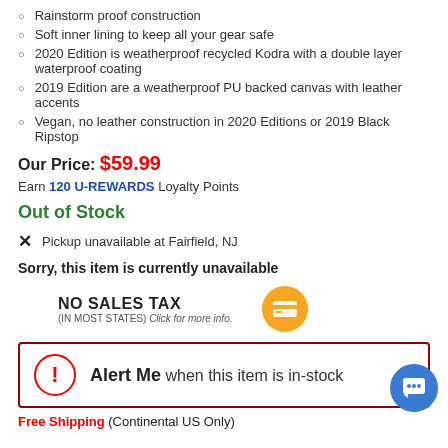Rainstorm proof construction
Soft inner lining to keep all your gear safe
2020 Edition is weatherproof recycled Kodra with a double layer waterproof coating
2019 Edition are a weatherproof PU backed canvas with leather accents
Vegan, no leather construction in 2020 Editions or 2019 Black Ripstop
Our Price: $59.99
Earn 120 U-REWARDS Loyalty Points
Out of Stock
Pickup unavailable at Fairfield, NJ
Sorry, this item is currently unavailable
NO SALES TAX (IN MOST STATES) Click for more info.
Alert Me when this item is in-stock
Free Shipping (Continental US Only)